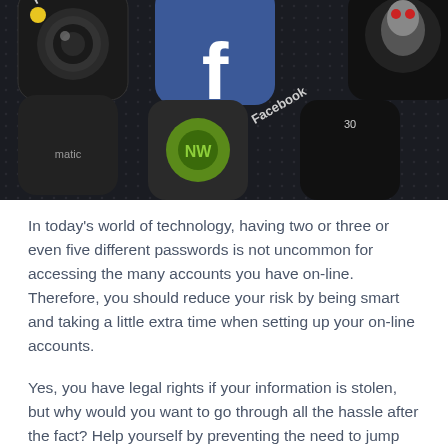[Figure (photo): Close-up photo of a smartphone screen showing app icons including Phoster, Facebook, and other apps on a dark textured background.]
In today's world of technology, having two or three or even five different passwords is not uncommon for accessing the many accounts you have on-line. Therefore, you should reduce your risk by being smart and taking a little extra time when setting up your on-line accounts.
Yes, you have legal rights if your information is stolen, but why would you want to go through all the hassle after the fact? Help yourself by preventing the need to jump through hoops to correct stolen information.
Here are 6 tips you should use to protect your personal information.